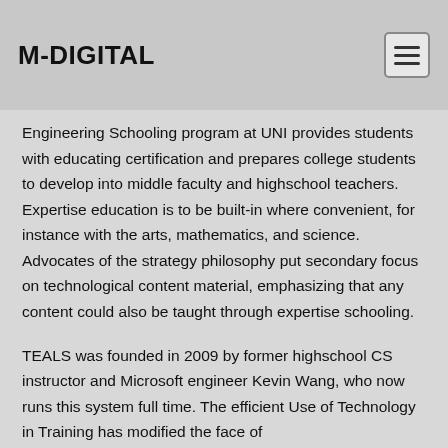M-DIGITAL
Engineering Schooling program at UNI provides students with educating certification and prepares college students to develop into middle faculty and highschool teachers. Expertise education is to be built-in where convenient, for instance with the arts, mathematics, and science. Advocates of the strategy philosophy put secondary focus on technological content material, emphasizing that any content could also be taught through expertise schooling.
TEALS was founded in 2009 by former highschool CS instructor and Microsoft engineer Kevin Wang, who now runs this system full time. The efficient Use of Technology in Training has modified the face of